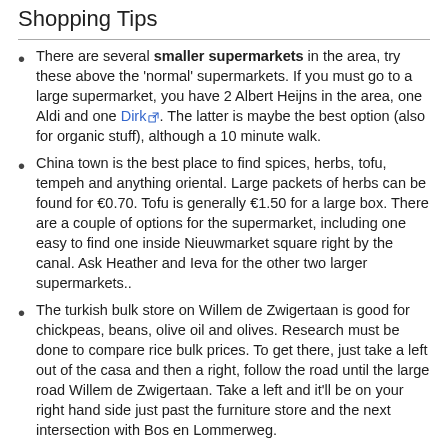Shopping Tips
There are several smaller supermarkets in the area, try these above the 'normal' supermarkets. If you must go to a large supermarket, you have 2 Albert Heijns in the area, one Aldi and one Dirk. The latter is maybe the best option (also for organic stuff), although a 10 minute walk.
China town is the best place to find spices, herbs, tofu, tempeh and anything oriental. Large packets of herbs can be found for €0.70. Tofu is generally €1.50 for a large box. There are a couple of options for the supermarket, including one easy to find one inside Nieuwmarket square right by the canal. Ask Heather and Ieva for the other two larger supermarkets..
The turkish bulk store on Willem de Zwigertaan is good for chickpeas, beans, olive oil and olives. Research must be done to compare rice bulk prices. To get there, just take a left out of the casa and then a right, follow the road until the large road Willem de Zwigertaan. Take a left and it'll be on your right hand side just past the furniture store and the next intersection with Bos en Lommerweg.
Two organic shops can be found close to the house (biking